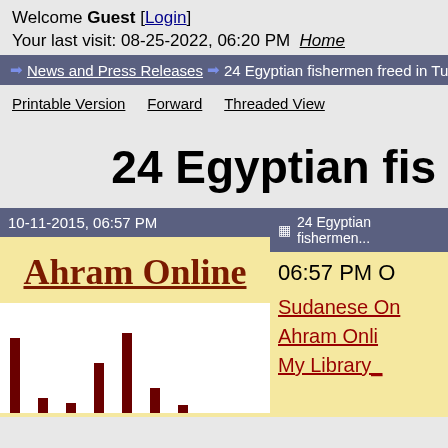Welcome Guest [Login]
Your last visit: 08-25-2022, 06:20 PM Home
→ News and Press Releases → 24 Egyptian fishermen freed in Tunisia, Su...
Printable Version   Forward   Threaded View
24 Egyptian fis...
10-11-2015, 06:57 PM
[Figure (screenshot): Ahram Online logo on yellow background with a bar chart/graph image below]
24 Egyptian fishermen...
06:57 PM O...
Sudanese On...
Ahram Onli...
My Library_...